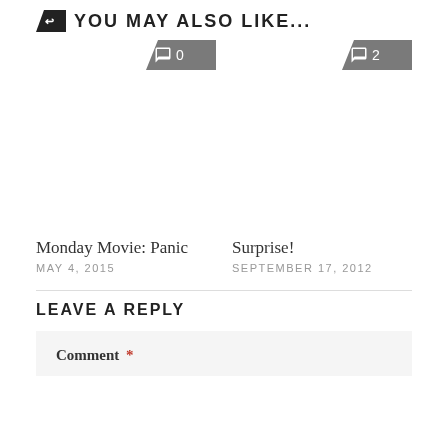YOU MAY ALSO LIKE...
Monday Movie: Panic
MAY 4, 2015
Surprise!
SEPTEMBER 17, 2012
LEAVE A REPLY
Comment *